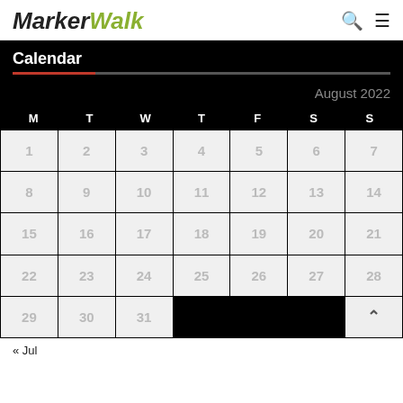MarkerWalk
Calendar
August 2022
| M | T | W | T | F | S | S |
| --- | --- | --- | --- | --- | --- | --- |
| 1 | 2 | 3 | 4 | 5 | 6 | 7 |
| 8 | 9 | 10 | 11 | 12 | 13 | 14 |
| 15 | 16 | 17 | 18 | 19 | 20 | 21 |
| 22 | 23 | 24 | 25 | 26 | 27 | 28 |
| 29 | 30 | 31 |  |  |  |  |
« Jul